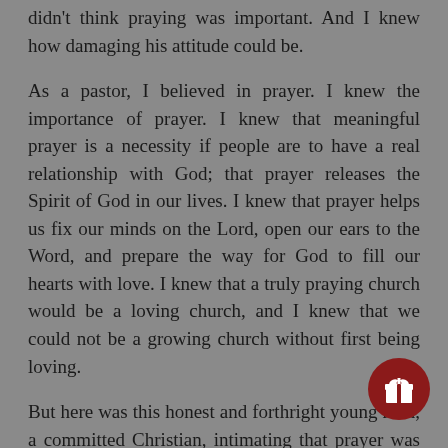didn't think praying was important. And I knew how damaging his attitude could be.
As a pastor, I believed in prayer. I knew the importance of prayer. I knew that meaningful prayer is a necessity if people are to have a real relationship with God; that prayer releases the Spirit of God in our lives. I knew that prayer helps us fix our minds on the Lord, open our ears to the Word, and prepare the way for God to fill our hearts with love. I knew that a truly praying church would be a loving church, and I knew that we could not be a growing church without first being loving.
But here was this honest and forthright young man, a committed Christian, intimating that prayer was not important, that it was boring (and to be boring in our worship services has to be one of the worst sins, doesn't it?).
Since that conversation I and other members of First